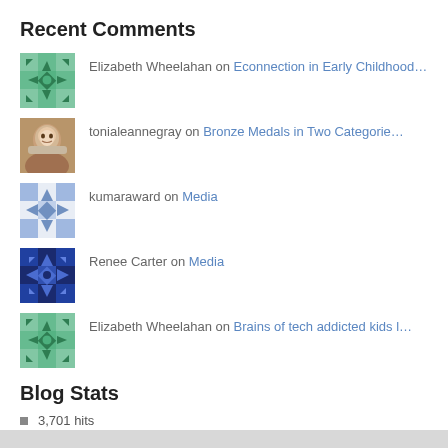Recent Comments
Elizabeth Wheelahan on Econnection in Early Childhood…
tonialeannegray on Bronze Medals in Two Categorie…
kumaraward on Media
Renee Carter on Media
Elizabeth Wheelahan on Brains of tech addicted kids l…
Blog Stats
3,701 hits
Kumara Ward